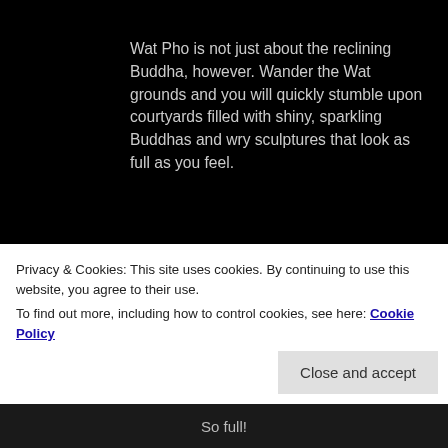Wat Pho is not just about the reclining Buddha, however. Wander the Wat grounds and you will quickly stumble upon courtyards filled with shiny, sparkling Buddhas and wry sculptures that look as full as you feel.
[Figure (photo): A large image placeholder showing a broken image icon (small thumbnail icon with a green element) on a black background, representing a photo that failed to load.]
Privacy & Cookies: This site uses cookies. By continuing to use this website, you agree to their use.
To find out more, including how to control cookies, see here: Cookie Policy
Close and accept
So full!